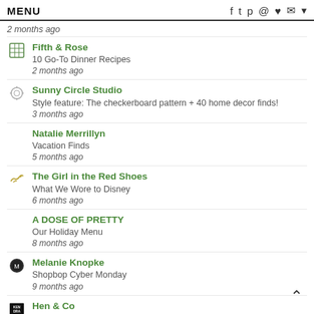MENU
2 months ago
Fifth & Rose
10 Go-To Dinner Recipes
2 months ago
Sunny Circle Studio
Style feature: The checkerboard pattern + 40 home decor finds!
3 months ago
Natalie Merrillyn
Vacation Finds
5 months ago
The Girl in the Red Shoes
What We Wore to Disney
6 months ago
A DOSE OF PRETTY
Our Holiday Menu
8 months ago
Melanie Knopke
Shopbop Cyber Monday
9 months ago
Hen & Co
Nashville Tour Guide
9 months ago